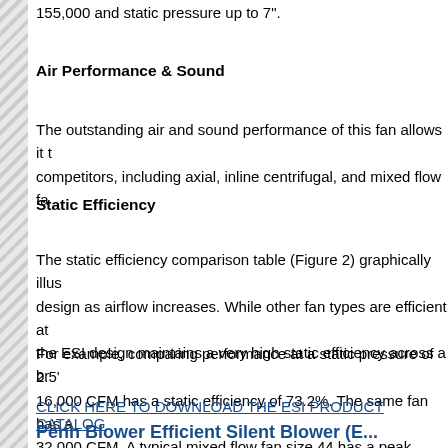155,000 and static pressure up to 7".
Air Performance & Sound
The outstanding air and sound performance of this fan allows it to outperform competitors, including axial, inline centrifugal, and mixed flow fans.
Static Efficiency
The static efficiency comparison table (Figure 2) graphically illustrates the ESI design as airflow increases. While other fan types are efficient at specific points, the ESI design maintains a very high static efficiency across a broad range.
For example, comparing performance at a static pressure of 2.5", an ESI size 44 at 16,000 CFM has a static efficiency of 73.2%. The same fan has a static efficiency at 32,000 CFM. A typical mixed flow fan size 44 has a peak static efficiency at a specific CFM. However, as the volume increases to 32,000 CFM, the efficiency drops.
CLICK HERE TO DOWNLOAD THE ESI PRODUCT CATALOG
Penn Blower Efficient Silent Blower (E...